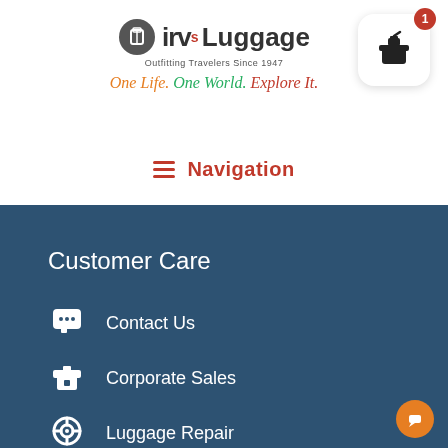[Figure (logo): Irv's Luggage logo with suitcase icon, brand name, tagline 'Outfitting Travelers Since 1947', and slogan 'One Life. One World. Explore It.']
[Figure (illustration): Shopping cart icon with red badge showing count 1]
Navigation
Customer Care
Contact Us
Corporate Sales
Luggage Repair